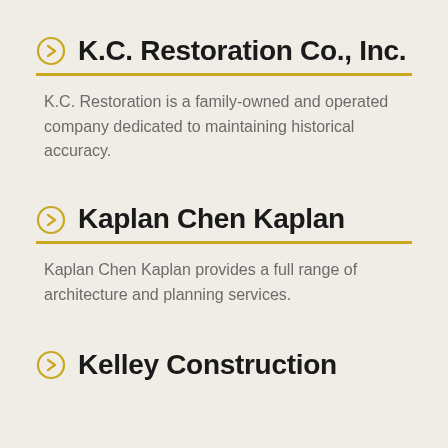K.C. Restoration Co., Inc.
K.C. Restoration is a family-owned and operated company dedicated to maintaining historical accuracy.
Kaplan Chen Kaplan
Kaplan Chen Kaplan provides a full range of architecture and planning services.
Kelley Construction